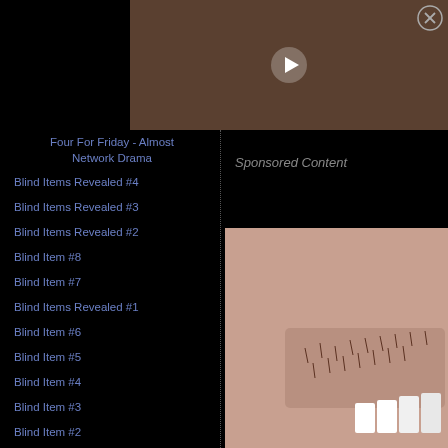[Figure (photo): Person typing on a laptop on a wooden desk with a coffee cup, video player overlay with play button]
[Figure (other): Close X button circle in top right corner]
Four For Friday - Almost Network Drama
Blind Items Revealed #4
Blind Items Revealed #3
Blind Items Revealed #2
Blind Item #8
Blind Item #7
Blind Items Revealed #1
Blind Item #6
Blind Item #5
Blind Item #4
Blind Item #3
Blind Item #2
Blind Item #1
Sponsored Content
[Figure (photo): Close-up macro photo of skin with stubble/ingrown hairs and white teeth at bottom edge]